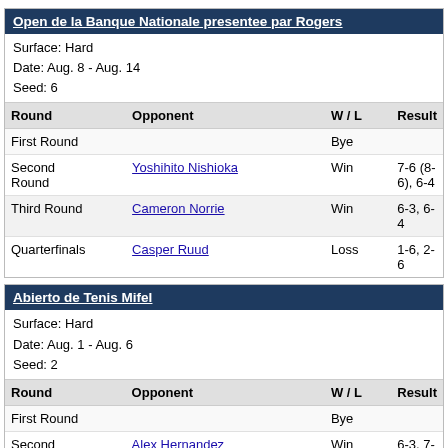| Round | Opponent | W / L | Result |
| --- | --- | --- | --- |
| First Round |  | Bye |  |
| Second Round | Yoshihito Nishioka | Win | 7-6 (8-6), 6-4 |
| Third Round | Cameron Norrie | Win | 6-3, 6-4 |
| Quarterfinals | Casper Ruud | Loss | 1-6, 2-6 |
| Round | Opponent | W / L | Result |
| --- | --- | --- | --- |
| First Round |  | Bye |  |
| Second Round | Alex Hernandez | Win | 6-3, 7-5 |